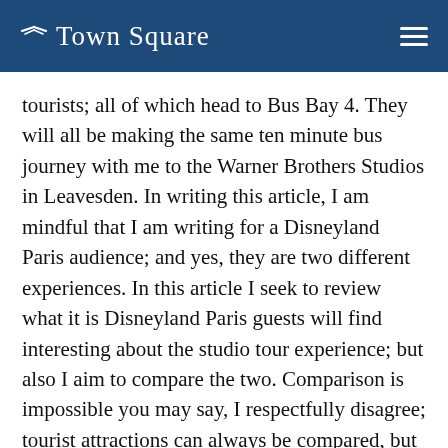Town Square
tourists; all of which head to Bus Bay 4. They will all be making the same ten minute bus journey with me to the Warner Brothers Studios in Leavesden. In writing this article, I am mindful that I am writing for a Disneyland Paris audience; and yes, they are two different experiences. In this article I seek to review what it is Disneyland Paris guests will find interesting about the studio tour experience; but also I aim to compare the two. Comparison is impossible you may say, I respectfully disagree; tourist attractions can always be compared, but this experience is as close to a Disney experience that one is likely to find within the UK.